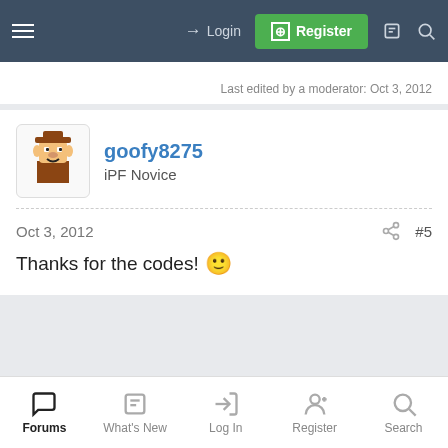Login  Register
Last edited by a moderator: Oct 3, 2012
goofy8275
iPF Novice
Oct 3, 2012  #5
Thanks for the codes! 🙂
Forums  What's New  Log In  Register  Search